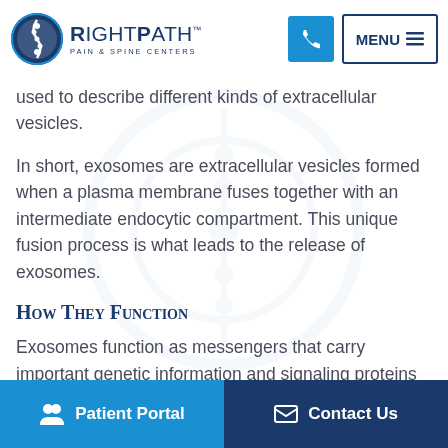RightPath Pain & Spine Centers — navigation header with logo, phone button, and menu button
actually are. That's partly due to the term 'exosome' first used over 30 years ago, and since then it's been used to describe different kinds of extracellular vesicles.
In short, exosomes are extracellular vesicles formed when a plasma membrane fuses together with an intermediate endocytic compartment. This unique fusion process is what leads to the release of exosomes.
How They Function
Exosomes function as messengers that carry important genetic information and signaling proteins to different cells in the body. They're part of what connects the
Patient Portal    Contact Us